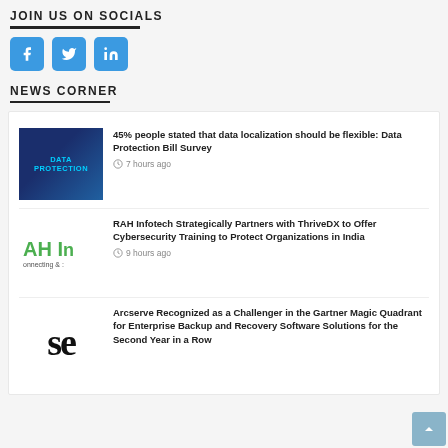JOIN US ON SOCIALS
[Figure (illustration): Three social media icons: Facebook (f), Twitter (bird), LinkedIn (in), all in blue rounded square buttons]
NEWS CORNER
[Figure (photo): Data Protection thumbnail image showing blue tech background with text DATA PROTECTION]
45% people stated that data localization should be flexible: Data Protection Bill Survey
7 hours ago
[Figure (logo): RAH Infotech logo showing AH Ir in green text with 'onnecting & :' below]
RAH Infotech Strategically Partners with ThriveDX to Offer Cybersecurity Training to Protect Organizations in India
9 hours ago
[Figure (logo): Arcserve logo showing letters 'se' in large black text]
Arcserve Recognized as a Challenger in the Gartner Magic Quadrant for Enterprise Backup and Recovery Software Solutions for the Second Year in a Row